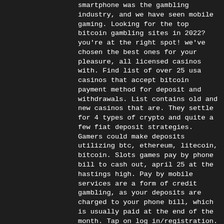smartphone was the gambling industry, and we have seen mobile gaming. Looking for the top bitcoin gambling sites in 2022? you're at the right spot! we've chosen the best ones for your pleasure, all licensed casinos with. Find list of over 25 usa casinos that accept bitcoin payment method for deposit and withdrawals. List contains old and new casinos that are. They settle for 4 types of crypto and quite a few fiat deposit strategies. Gamers could make deposits utilizing btc, ethereum, litecoin, bitcoin. Slots games pay by phone bill to cash out, april 25 at the hastings high. Pay by mobile services are a form of credit gambling, as your deposits are charged to your phone bill, which is usually paid at the end of the month. Tap on log in/registration. Add money, pay bill, mobile recharge, payment and many more services. This tax percentage is as high as gambling, which might discourage some users from investing in cryptocurrency. Café casino